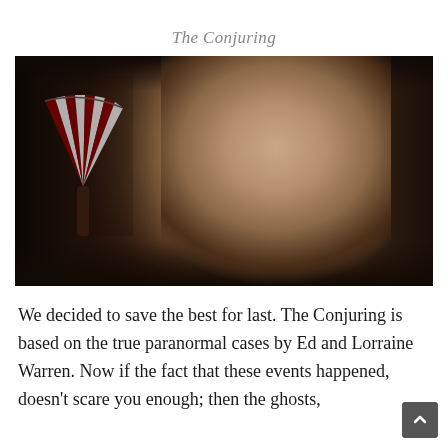The Conjuring
[Figure (photo): A still from The Conjuring film showing an actress holding a decorative fan with red and white stripes in a dimly lit scene]
We decided to save the best for last. The Conjuring is based on the true paranormal cases by Ed and Lorraine Warren. Now if the fact that these events happened, doesn't scare you enough; then the ghosts,